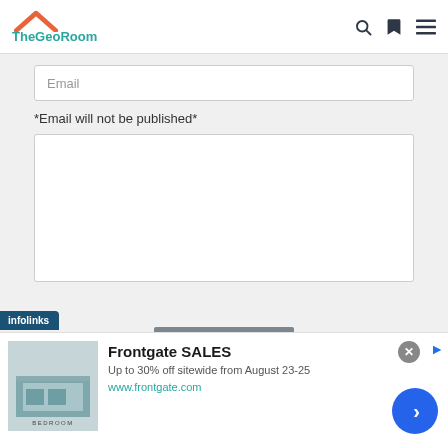TheGeoRoom
Email
*Email will not be published*
Submit
[Figure (screenshot): Frontgate SALES advertisement banner with bedroom image, text 'Up to 30% off sitewide from August 23-25', and link www.frontgate.com]